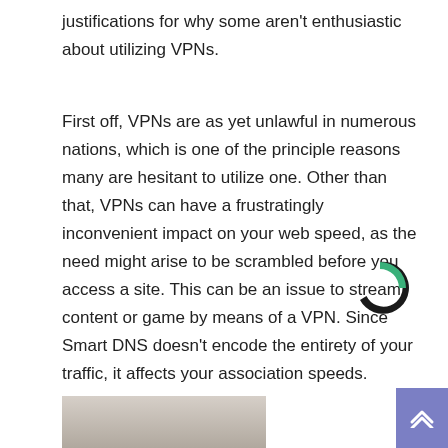justifications for why some aren't enthusiastic about utilizing VPNs.
First off, VPNs are as yet unlawful in numerous nations, which is one of the principle reasons many are hesitant to utilize one. Other than that, VPNs can have a frustratingly inconvenient impact on your web speed, as the need might arise to be scrambled before you access a site. This can be an issue to stream content or game by means of a VPN. Since Smart DNS doesn't encode the entirety of your traffic, it affects your association speeds.
[Figure (logo): Circular logo with black C shape and green/teal quarter segment]
[Figure (photo): Partial photo of person with white/grey hair at bottom left]